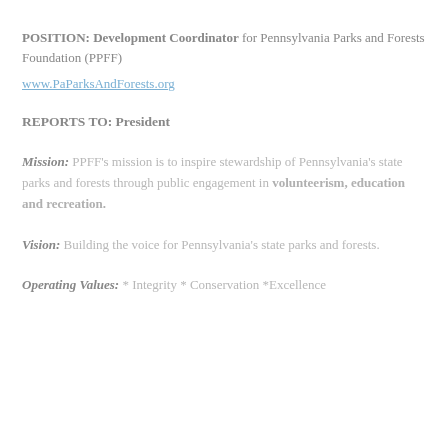POSITION: Development Coordinator for Pennsylvania Parks and Forests Foundation (PPFF)
www.PaParksAndForests.org
REPORTS TO: President
Mission: PPFF’s mission is to inspire stewardship of Pennsylvania’s state parks and forests through public engagement in volunteerism, education and recreation.
Vision: Building the voice for Pennsylvania’s state parks and forests.
Operating Values: * Integrity * Conservation *Excellence